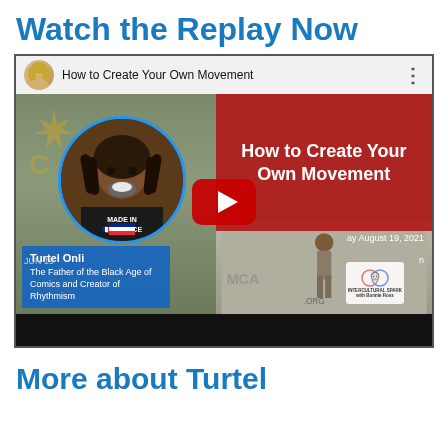Watch the Replay Now
[Figure (screenshot): YouTube video thumbnail for 'How to Create Your Own Movement' featuring Turtel Onli, The Father of the Black Age of Comics and Creator of Rhythmism. Shows a man in a 'Made in France' shirt in a circular frame on the left, a red box with the title text on the right, and a YouTube play button in the center. Date shown: August 19, 2021. Intercultural Spark branding visible.]
More about Turtel